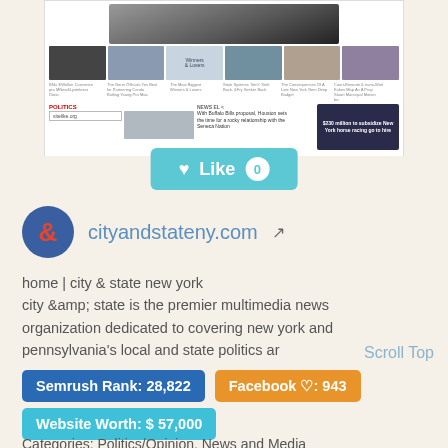[Figure (screenshot): Screenshot of cityandstateny.com website showing news thumbnails and a sitelike.org overlay]
♥ Like 0
cityandstateny.com
home | city & state new york
city &amp; state is the premier multimedia news organization dedicated to covering new york and pennsylvania's local and state politics ar
Scroll Top
Semrush Rank: 28,822
Facebook ♡: 943
Website Worth: $ 57,000
Categories: Politics/Opinion, News and Media